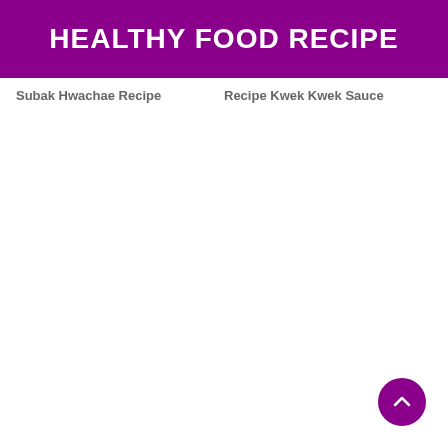HEALTHY FOOD RECIPE
Subak Hwachae Recipe
Recipe Kwek Kwek Sauce